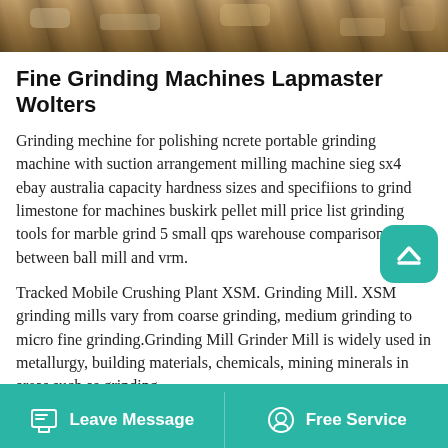[Figure (photo): Outdoor construction or mining scene with machinery and debris/rubble in background]
Fine Grinding Machines Lapmaster Wolters
Grinding mechine for polishing ncrete portable grinding machine with suction arrangement milling machine sieg sx4 ebay australia capacity hardness sizes and specifiions to grind limestone for machines buskirk pellet mill price list grinding tools for marble grind 5 small qps warehouse comparison between ball mill and vrm.
Tracked Mobile Crushing Plant XSM. Grinding Mill. XSM grinding mills vary from coarse grinding, medium grinding to micro fine grinding.Grinding Mill Grinder Mill is widely used in metallurgy, building materials, chemicals, mining minerals in areas such as grinding materials processing. The materials include li...